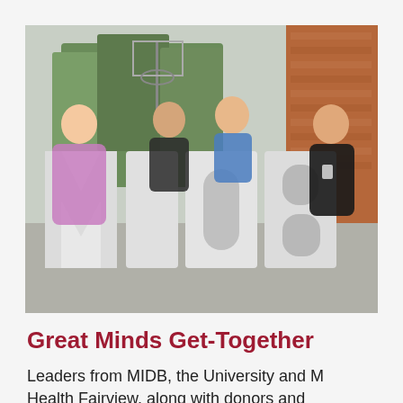[Figure (photo): Four women posing behind large white 3D letters spelling 'MIDB' outdoors near a brick building and basketball hoop. The women are smiling and leaning over the letters.]
Great Minds Get-Together
Leaders from MIDB, the University and M Health Fairview, along with donors and supporters, celebrated MIDB and its...